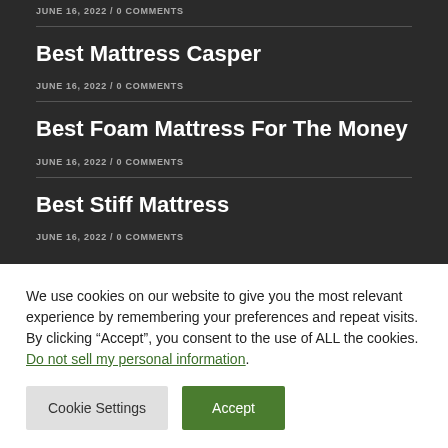JUNE 16, 2022 / 0 COMMENTS
Best Mattress Casper
JUNE 16, 2022 / 0 COMMENTS
Best Foam Mattress For The Money
JUNE 16, 2022 / 0 COMMENTS
Best Stiff Mattress
JUNE 16, 2022 / 0 COMMENTS
We use cookies on our website to give you the most relevant experience by remembering your preferences and repeat visits. By clicking “Accept”, you consent to the use of ALL the cookies. Do not sell my personal information.
Cookie Settings
Accept